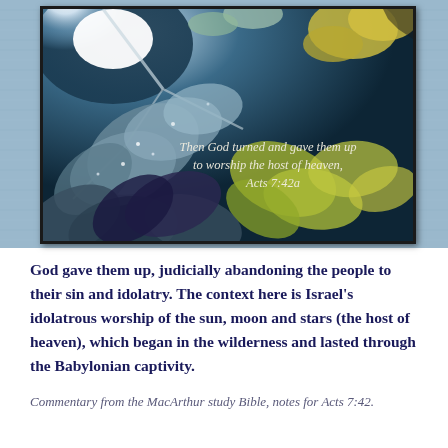[Figure (photo): Photo of frost-covered leaves with sunlight shining through, on a blue denim-textured background. Scripture text overlay reads: 'Then God turned and gave them up to worship the host of heaven, Acts 7:42a']
God gave them up, judicially abandoning the people to their sin and idolatry. The context here is Israel's idolatrous worship of the sun, moon and stars (the host of heaven), which began in the wilderness and lasted through the Babylonian captivity.
Commentary from the MacArthur study Bible, notes for Acts 7:42.